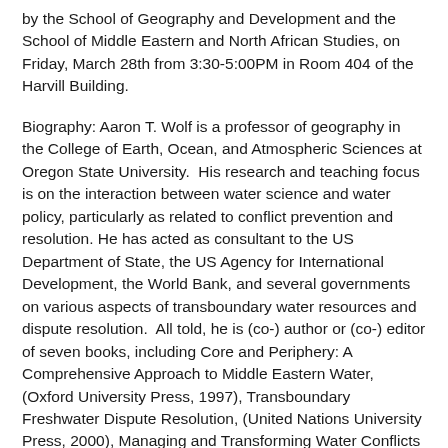by the School of Geography and Development and the School of Middle Eastern and North African Studies, on Friday, March 28th from 3:30-5:00PM in Room 404 of the Harvill Building.
Biography: Aaron T. Wolf is a professor of geography in the College of Earth, Ocean, and Atmospheric Sciences at Oregon State University.  His research and teaching focus is on the interaction between water science and water policy, particularly as related to conflict prevention and resolution. He has acted as consultant to the US Department of State, the US Agency for International Development, the World Bank, and several governments on various aspects of transboundary water resources and dispute resolution.  All told, he is (co-) author or (co-) editor of seven books, including Core and Periphery: A Comprehensive Approach to Middle Eastern Water, (Oxford University Press, 1997), Transboundary Freshwater Dispute Resolution, (United Nations University Press, 2000), Managing and Transforming Water Conflicts (Cambridge University Press, 2009), and close to fifty journal articles, book chapters, and professional reports on various